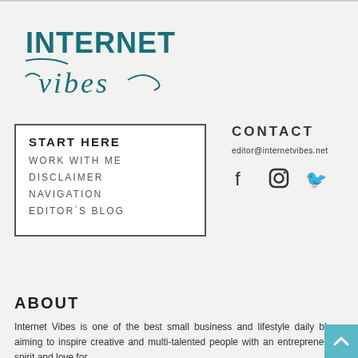[Figure (logo): Internet Vibes logo in teal/dark cyan color with 'INTERNET' in bold sans-serif and 'vibes' in italic script below]
START HERE
WORK WITH ME
DISCLAIMER
NAVIGATION
EDITOR`S BLOG
CONTACT
editor@internetvibes.net
[Figure (infographic): Social media icons: Facebook, Instagram, Twitter]
ABOUT
Internet Vibes is one of the best small business and lifestyle daily blogs aiming to inspire creative and multi-talented people with an entrepreneurial spirit and love for